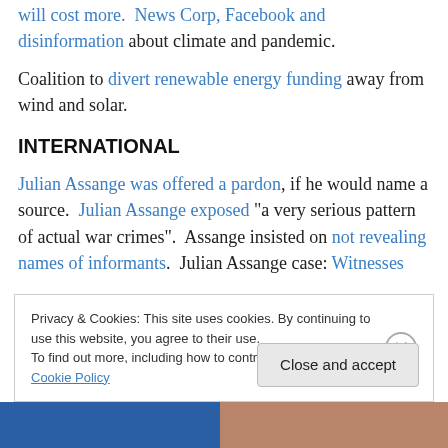will cost more.  News Corp, Facebook and disinformation about climate and pandemic.
Coalition to divert renewable energy funding away from wind and solar.
INTERNATIONAL
Julian Assange was offered a pardon, if he would name a source.  Julian Assange exposed “a very serious pattern of actual war crimes”.  Assange insisted on not revealing names of informants.  Julian Assange case: Witnesses
Privacy & Cookies: This site uses cookies. By continuing to use this website, you agree to their use.
To find out more, including how to control cookies, see here: Cookie Policy